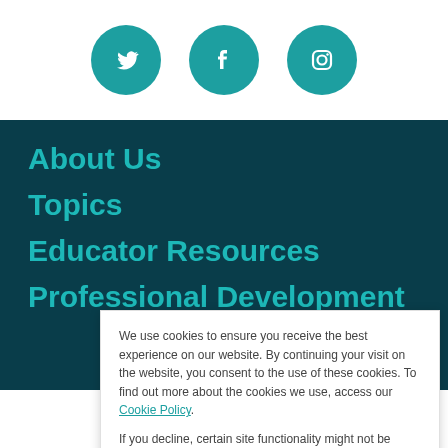[Figure (other): Three circular teal social media icons: Twitter, Facebook, Instagram]
About Us
Topics
Educator Resources
Professional Development
We use cookies to ensure you receive the best experience on our website. By continuing your visit on the website, you consent to the use of these cookies. To find out more about the cookies we use, access our Cookie Policy.
If you decline, certain site functionality might not be available to you.